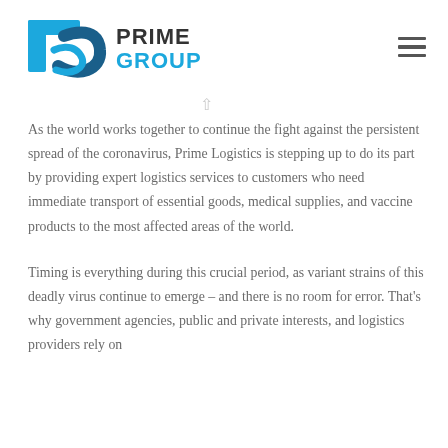Prime Group
As the world works together to continue the fight against the persistent spread of the coronavirus, Prime Logistics is stepping up to do its part by providing expert logistics services to customers who need immediate transport of essential goods, medical supplies, and vaccine products to the most affected areas of the world.
Timing is everything during this crucial period, as variant strains of this deadly virus continue to emerge – and there is no room for error. That's why government agencies, public and private interests, and logistics providers rely on